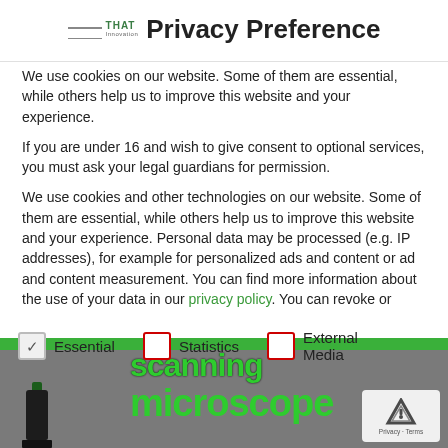Privacy Preference
We use cookies on our website. Some of them are essential, while others help us to improve this website and your experience.
If you are under 16 and wish to give consent to optional services, you must ask your legal guardians for permission.
We use cookies and other technologies on our website. Some of them are essential, while others help us to improve this website and your experience. Personal data may be processed (e.g. IP addresses), for example for personalized ads and content or ad and content measurement. You can find more information about the use of your data in our privacy policy. You can revoke or
Essential
Statistics
External Media
[Figure (screenshot): Background page showing scanning microscope text and device image with reCAPTCHA badge]